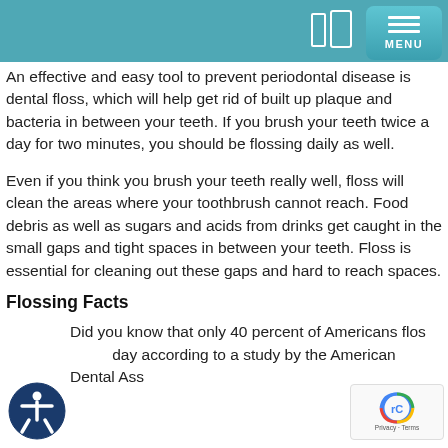MENU
An effective and easy tool to prevent periodontal disease is dental floss, which will help get rid of built up plaque and bacteria in between your teeth. If you brush your teeth twice a day for two minutes, you should be flossing daily as well.
Even if you think you brush your teeth really well, floss will clean the areas where your toothbrush cannot reach. Food debris as well as sugars and acids from drinks get caught in the small gaps and tight spaces in between your teeth. Floss is essential for cleaning out these gaps and hard to reach spaces.
Flossing Facts
Did you know that only 40 percent of Americans floss every day according to a study by the American Dental Association?